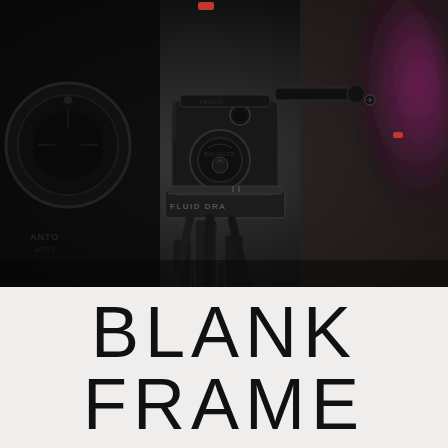[Figure (photo): Close-up photograph of a professional video camera fluid head tripod (labeled FLUID DRA...) in black, with red accent knobs/markers. A blurred figure in a magenta/purple top is visible in the background on the right. Dark camera equipment is visible on the left.]
BLANK FRAME